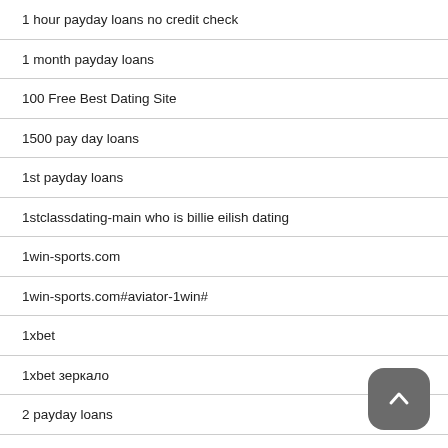1 hour payday loans no credit check
1 month payday loans
100 Free Best Dating Site
1500 pay day loans
1st payday loans
1stclassdating-main who is billie eilish dating
1win-sports.com
1win-sports.com#aviator-1win#
1xbet
1xbet зеркало
2 payday loans
20 Deposit best canadian casino
200$ payday loans